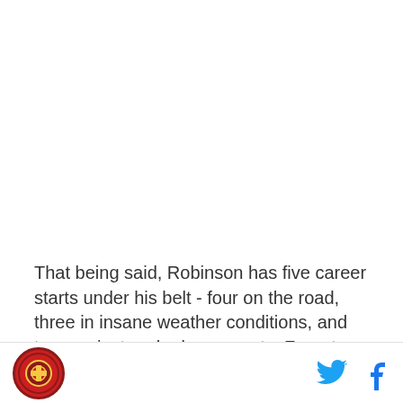That being said, Robinson has five career starts under his belt - four on the road, three in insane weather conditions, and two against ranked opponents. For a true sophomore - who Gary Patterson likens to a redshirt freshman developmentally - he has truly seen
[Figure (logo): Circular red logo with gold emblem in the center, representing a college sports team]